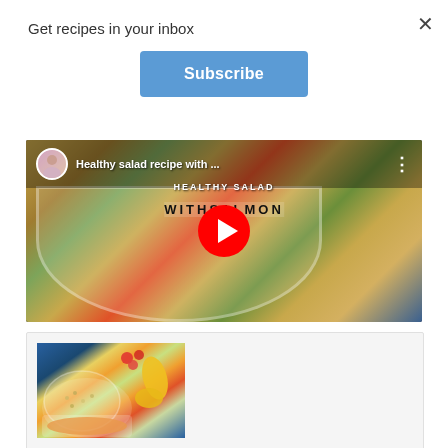Get recipes in your inbox
Subscribe
[Figure (screenshot): YouTube video thumbnail showing a healthy salad recipe with salmon. Title reads 'Healthy salad recipe with ...' and 'WITH SALMON'. Shows a bowl of grain salad with vegetables, a red YouTube play button in center, channel avatar in top left, and three-dot menu icon top right.]
[Figure (photo): Food photo card showing a salad bowl with grain salad, tomatoes, a yellow pepper/squash, and what appears to be a salmon dish, on a blue surface.]